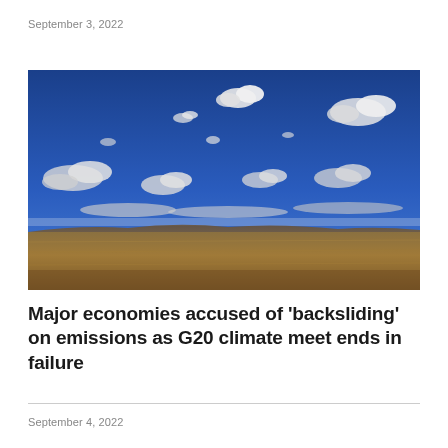September 3, 2022
[Figure (photo): Wide-angle landscape photograph showing a vast arid plain with dried golden-brown grasses and low hills in the background under a deep blue sky with scattered white clouds.]
Major economies accused of 'backsliding' on emissions as G20 climate meet ends in failure
September 4, 2022